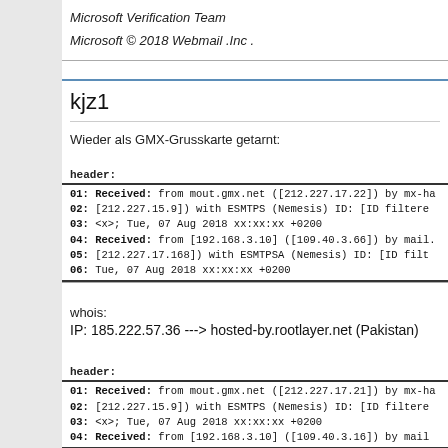Microsoft Verification Team
Microsoft © 2018 Webmail .Inc .
kjz1
Wieder als GMX-Grusskarte getarnt:
header:
01:  Received: from mout.gmx.net ([212.227.17.22]) by mx-ha
02:   [212.227.15.9]) with ESMTPS (Nemesis) ID: [ID filtere
03:   <x>; Tue, 07 Aug 2018 xx:xx:xx +0200
04:  Received: from [192.168.3.10] ([109.40.3.66]) by mail.
05:   [212.227.17.168]) with ESMTPSA (Nemesis) ID: [ID filt
06:  Tue, 07 Aug 2018 xx:xx:xx +0200
whois:
IP: 185.222.57.36 ---> hosted-by.rootlayer.net (Pakistan)
header:
01:  Received: from mout.gmx.net ([212.227.17.21]) by mx-ha
02:   [212.227.15.9]) with ESMTPS (Nemesis) ID: [ID filtere
03:   <x>; Tue, 07 Aug 2018 xx:xx:xx +0200
04:  Received: from [192.168.3.10] ([109.40.3.16]) by mail